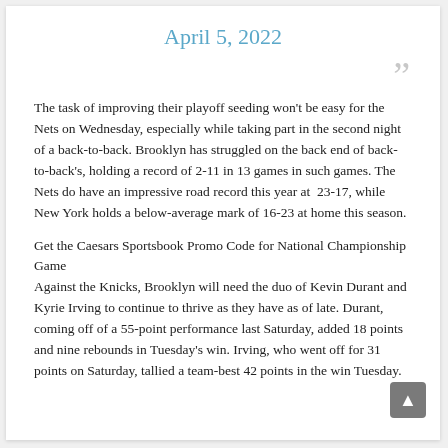April 5, 2022
The task of improving their playoff seeding won't be easy for the Nets on Wednesday, especially while taking part in the second night of a back-to-back. Brooklyn has struggled on the back end of back-to-back's, holding a record of 2-11 in 13 games in such games. The Nets do have an impressive road record this year at 23-17, while New York holds a below-average mark of 16-23 at home this season.
Get the Caesars Sportsbook Promo Code for National Championship Game
Against the Knicks, Brooklyn will need the duo of Kevin Durant and Kyrie Irving to continue to thrive as they have as of late. Durant, coming off of a 55-point performance last Saturday, added 18 points and nine rebounds in Tuesday's win. Irving, who went off for 31 points on Saturday, tallied a team-best 42 points in the win Tuesday.